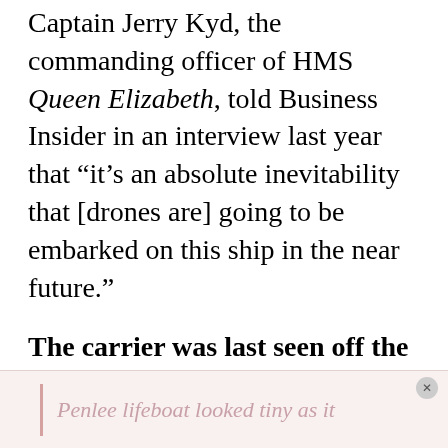Captain Jerry Kyd, the commanding officer of HMS Queen Elizabeth, told Business Insider in an interview last year that “it’s an absolute inevitability that [drones are] going to be embarked on this ship in the near future.”
The carrier was last seen off the coast of Cornwall, the southwestern tip of the UK. This photo was taken by a local newspaper photographer, showing the ship near the St Michael’s Mount landmark.
Penlee lifeboat looked tiny as it